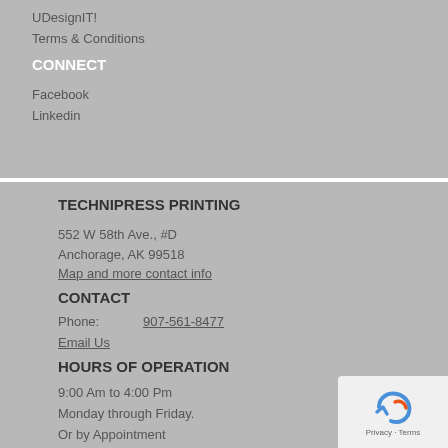UDesignIT!
Terms & Conditions
CONNECT
Facebook
Linkedin
TECHNIPRESS PRINTING
552 W 58th Ave., #D
Anchorage, AK 99518
Map and more contact info
CONTACT
Phone:   907-561-8477
Email Us
HOURS OF OPERATION
9:00 Am to 4:00 Pm
Monday through Friday.
Or by Appointment